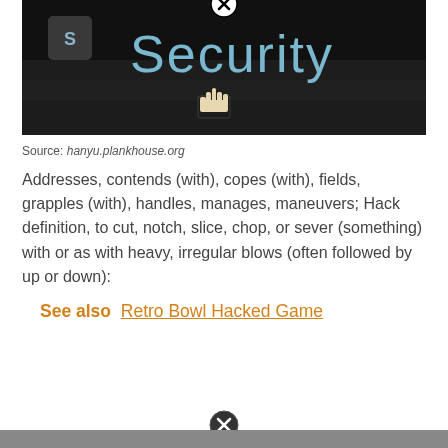[Figure (photo): Dark screen/keyboard showing the word 'Security' in blue text with a cursor hand icon pointing at it, and a shield icon on the left. A close (X) button appears at the top center.]
Source: hanyu.plankhouse.org
Addresses, contends (with), copes (with), fields, grapples (with), handles, manages, maneuvers; Hack definition, to cut, notch, slice, chop, or sever (something) with or as with heavy, irregular blows (often followed by up or down):
See also  Retro Bowl Hacked Game